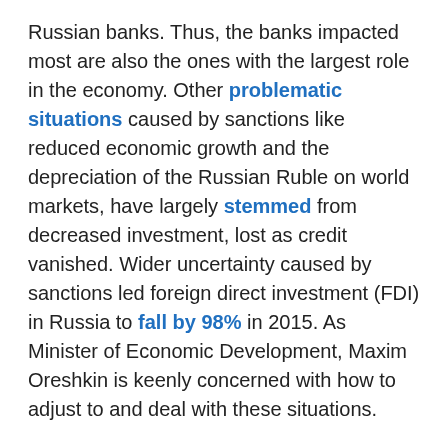Russian banks. Thus, the banks impacted most are also the ones with the largest role in the economy. Other problematic situations caused by sanctions like reduced economic growth and the depreciation of the Russian Ruble on world markets, have largely stemmed from decreased investment, lost as credit vanished. Wider uncertainty caused by sanctions led foreign direct investment (FDI) in Russia to fall by 98% in 2015. As Minister of Economic Development, Maxim Oreshkin is keenly concerned with how to adjust to and deal with these situations.
Some measures taken include trying to minimize uncertainty and calming business concerns. The most tangible example of this is in how Oreshkin has given several speeches outlining measures that the Central Bank, Ministry of Finance, and Ministry of Economic Development are taking. Although the three entities have had a reputation as warring